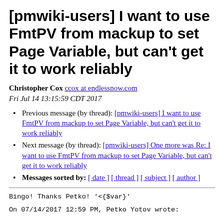[pmwiki-users] I want to use FmtPV from mackup to set Page Variable, but can't get it to work reliably
Christopher Cox ccox at endlessnow.com
Fri Jul 14 13:15:59 CDT 2017
Previous message (by thread): [pmwiki-users] I want to use FmtPV from mackup to set Page Variable, but can't get it to work reliably
Next message (by thread): [pmwiki-users] One more was Re: I want to use FmtPV from mackup to set Page Variable, but can't get it to work reliably
Messages sorted by: [ date ] [ thread ] [ subject ] [ author ]
Bingo!  Thanks Petko! '<{$var}'
On 07/14/2017 12:59 PM, Petko Yotov wrote: